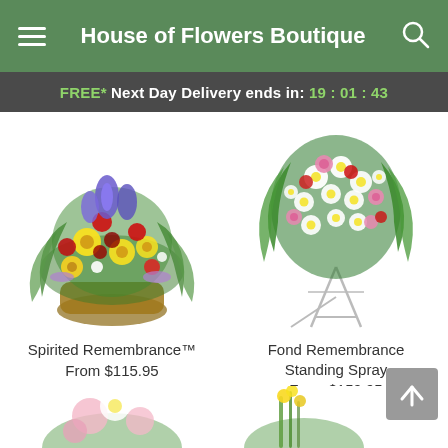House of Flowers Boutique
FREE* Next Day Delivery ends in: 19:01:43
[Figure (photo): Spirited Remembrance floral arrangement in basket with colorful yellow, red, purple, and green flowers]
Spirited Remembrance™
From $115.95
[Figure (photo): Fond Remembrance Standing Spray on metal easel with white daisies, pink roses, and green foliage]
Fond Remembrance Standing Spray
From $159.95
[Figure (photo): Partial view of a pink and white floral arrangement at bottom of page]
[Figure (photo): Partial view of a green and yellow floral arrangement at bottom right of page]